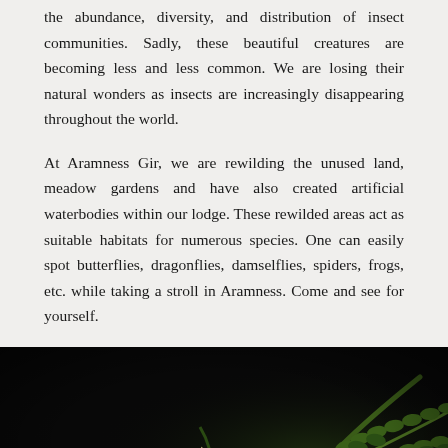the abundance, diversity, and distribution of insect communities. Sadly, these beautiful creatures are becoming less and less common. We are losing their natural wonders as insects are increasingly disappearing throughout the world.
At Aramness Gir, we are rewilding the unused land, meadow gardens and have also created artificial waterbodies within our lodge. These rewilded areas act as suitable habitats for numerous species. One can easily spot butterflies, dragonflies, damselflies, spiders, frogs, etc. while taking a stroll in Aramness. Come and see for yourself.
[Figure (photo): Dark nature photograph showing green plant stems and leaves (fern-like foliage) against a nearly black background, with a scroll-to-top button and a calendar booking button overlaid.]